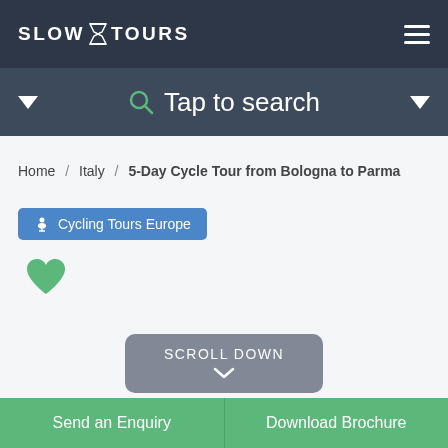SLOW TOURS
Tap to search
Home / Italy / 5-Day Cycle Tour from Bologna to Parma
Cycling Tours Europe
SCROLL DOWN
Send an Enquiry
Download Brochure